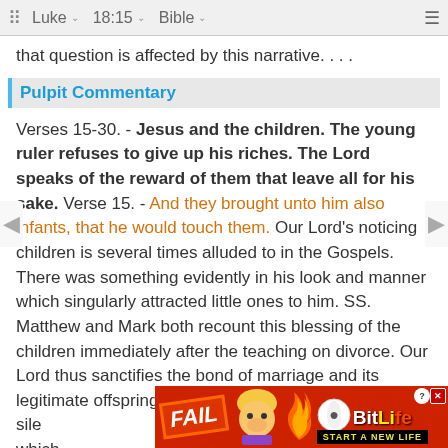⠿  Luke  ∨    18:15  ∨    Bible  ∨    ≡
that question is affected by this narrative. . . .
Pulpit Commentary
Verses 15-30. - Jesus and the children. The young ruler refuses to give up his riches. The Lord speaks of the reward of them that leave all for his sake. Verse 15. - And they brought unto him also infants, that he would touch them. Our Lord's noticing children is several times alluded to in the Gospels. There was something evidently in his look and manner which singularly attracted little ones to him. SS. Matthew and Mark both recount this blessing of the children immediately after the teaching on divorce. Our Lord thus sanctifies the bond of marriage and its legitimate offspring. was a sile ence which They
[Figure (screenshot): BitLife advertisement banner with FAIL text, animated character, flame, and 'START A NEW LIFE' tagline]